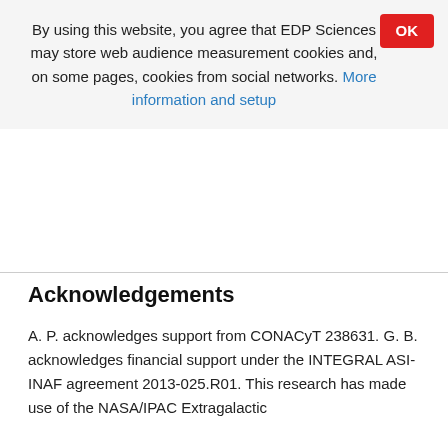By using this website, you agree that EDP Sciences may store web audience measurement cookies and, on some pages, cookies from social networks. More information and setup
Acknowledgements
A. P. acknowledges support from CONACyT 238631. G. B. acknowledges financial support under the INTEGRAL ASI-INAF agreement 2013-025.R01. This research has made use of the NASA/IPAC Extragalactic